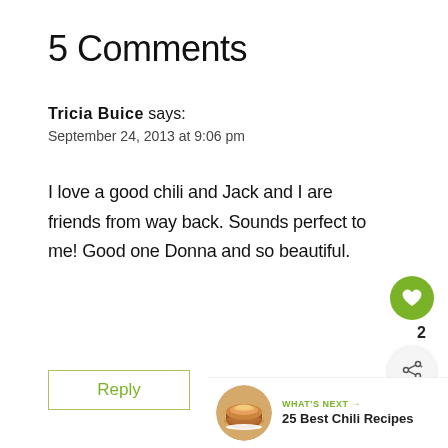5 Comments
Tricia Buice says:
September 24, 2013 at 9:06 pm
I love a good chili and Jack and I are friends from way back. Sounds perfect to me! Good one Donna and so beautiful.
Reply
[Figure (other): Heart icon button with count 2 and share button]
[Figure (other): What's Next banner with chili bowl image and text '25 Best Chili Recipes']